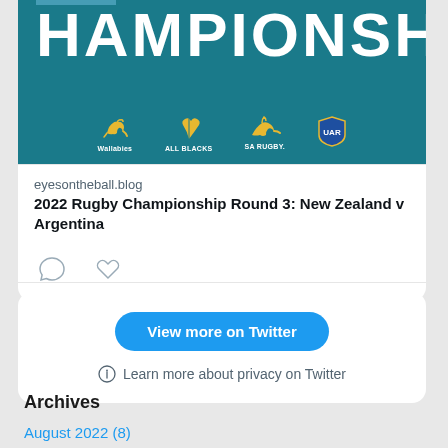[Figure (screenshot): Rugby Championship promotional image with teal background showing 'HAMPIONSHI' text (cropped) and team logos: Wallabies, All Blacks, SA Rugby, UAR]
eyesontheball.blog
2022 Rugby Championship Round 3: New Zealand v Argentina
[Figure (illustration): Comment icon (speech bubble outline)]
[Figure (illustration): Heart/like icon (outline)]
View more on Twitter
Learn more about privacy on Twitter
Archives
August 2022 (8)